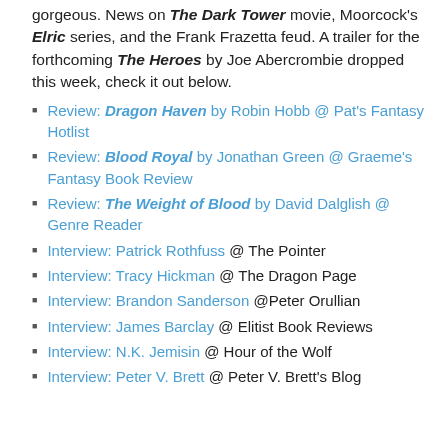gorgeous. News on The Dark Tower movie, Moorcock's Elric series, and the Frank Frazetta feud. A trailer for the forthcoming The Heroes by Joe Abercrombie dropped this week, check it out below.
Review: Dragon Haven by Robin Hobb @ Pat's Fantasy Hotlist
Review: Blood Royal by Jonathan Green @ Graeme's Fantasy Book Review
Review: The Weight of Blood by David Dalglish @ Genre Reader
Interview: Patrick Rothfuss @ The Pointer
Interview: Tracy Hickman @ The Dragon Page
Interview: Brandon Sanderson @Peter Orullian
Interview: James Barclay @ Elitist Book Reviews
Interview: N.K. Jemisin @ Hour of the Wolf
Interview: Peter V. Brett @ Peter V. Brett's Blog